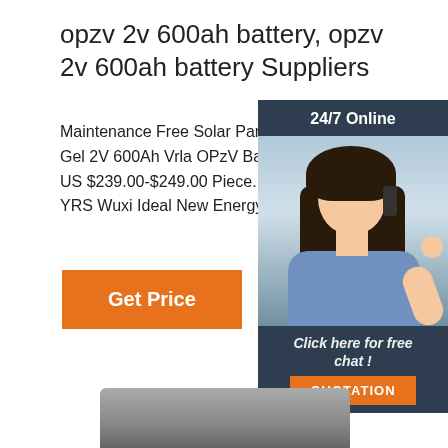opzv 2v 600ah battery, opzv 2v 600ah battery Suppliers
Maintenance Free Solar Panel Cell And 2 V... Gel 2V 600Ah Vrla OPzV Battery For Home... US $239.00-$249.00 Piece. 10 Pieces (Min... YRS Wuxi Ideal New Energy Co., Ltd.
[Figure (photo): Customer service representative with headset, '24/7 Online' header, 'Click here for free chat!' text, and orange QUOTATION button]
[Figure (photo): Bottom portion of a battery product image]